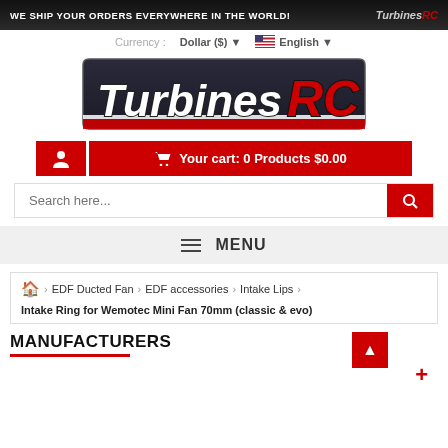WE SHIP YOUR ORDERS EVERYWHERE IN THE WORLD! TurbinesRC
Currency : Dollar ($) ▼   🇺🇸 English ▼
[Figure (logo): TurbinesRC logo — stylized italic text with white 'Turbines' and red 'RC' on dark navy badge background with red underline stripe]
Your cart: 0 Products $0.00
Search here...
≡ MENU
🏠 > EDF Ducted Fan > EDF accessories > Intake Lips
Intake Ring for Wemotec Mini Fan 70mm (classic & evo)
MANUFACTURERS